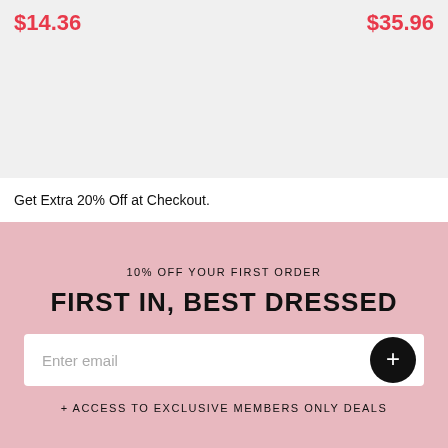$14.36
$35.96
Get Extra 20% Off at Checkout.
10% OFF YOUR FIRST ORDER
FIRST IN, BEST DRESSED
Enter email
+ ACCESS TO EXCLUSIVE MEMBERS ONLY DEALS